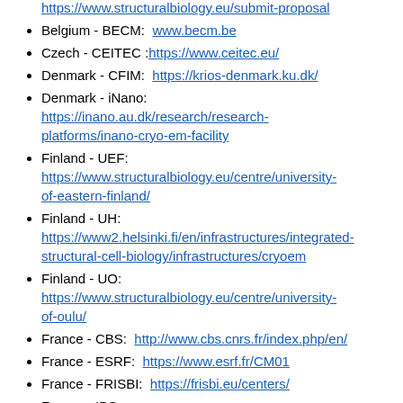https://www.structuralbiology.eu/submit-proposal
Belgium - BECM: www.becm.be
Czech - CEITEC :https://www.ceitec.eu/
Denmark - CFIM: https://krios-denmark.ku.dk/
Denmark - iNano: https://inano.au.dk/research/research-platforms/inano-cryo-em-facility
Finland - UEF: https://www.structuralbiology.eu/centre/university-of-eastern-finland/
Finland - UH: https://www2.helsinki.fi/en/infrastructures/integrated-structural-cell-biology/infrastructures/cryoem
Finland - UO: https://www.structuralbiology.eu/centre/university-of-oulu/
France - CBS: http://www.cbs.cnrs.fr/index.php/en/
France - ESRF: https://www.esrf.fr/CM01
France - FRISBI: https://frisbi.eu/centers/
France - IBS: https://www.structuralbiology.eu/centre/instruct-